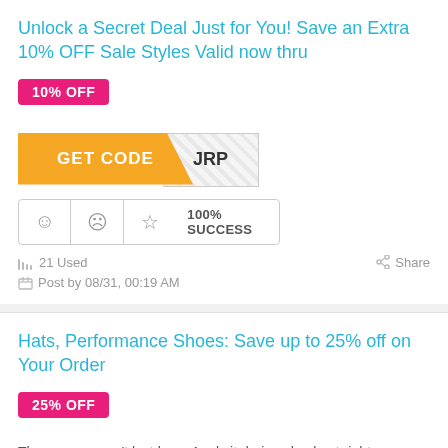Unlock a Secret Deal Just for You! Save an Extra 10% OFF Sale Styles Valid now thru
10% OFF
[Figure (other): Orange GET CODE button with hatched reveal area showing partial code 'JRP']
100% SUCCESS
21 Used
Share
Post by 08/31, 00:19 AM
Hats, Performance Shoes: Save up to 25% off on Your Order
25% OFF
The coupon won't last long. Apply it during checkout right n ...
More